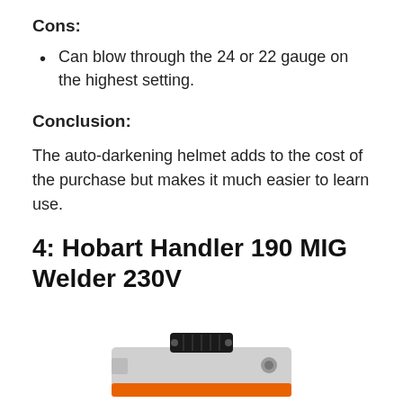Cons:
Can blow through the 24 or 22 gauge on the highest setting.
Conclusion:
The auto-darkening helmet adds to the cost of the purchase but makes it much easier to learn use.
4: Hobart Handler 190 MIG Welder 230V
[Figure (photo): Photo of the Hobart Handler 190 MIG Welder 230V, a grey and orange welding machine, partially visible at the bottom of the page.]